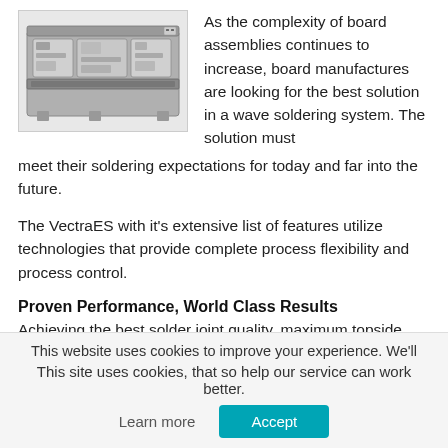[Figure (photo): Industrial wave soldering machine/system, viewed from the front, showing internal components and circuit board conveyors.]
As the complexity of board assemblies continues to increase, board manufactures are looking for the best solution in a wave soldering system. The solution must meet their soldering expectations for today and far into the future.
The VectraES with it's extensive list of features utilize technologies that provide complete process flexibility and process control.
Proven Performance, World Class Results
Achieving the best solder joint quality, maximum topside hole fill, and…
This website uses cookies to improve your experience. We'll
This site uses cookies, that so help our service can work better.
Learn more   Accept